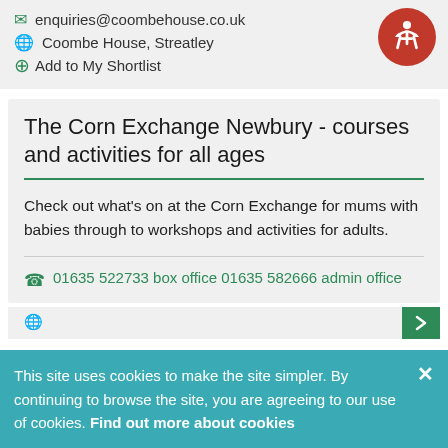✉ enquiries@coombehouse.co.uk
🌐 Coombe House, Streatley
+ Add to My Shortlist
The Corn Exchange Newbury - courses and activities for all ages
Check out what's on at the Corn Exchange for mums with babies through to workshops and activities for adults.
☎ 01635 522733 box office 01635 582666 admin office
This site uses cookies to make the site simpler. By continuing to browse the site, you are agreeing to our use of cookies. Find out more about cookies